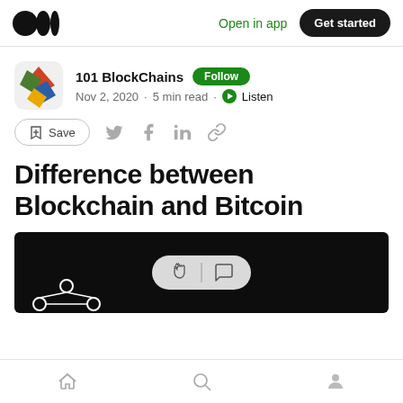Open in app  Get started
101 BlockChains  Follow
Nov 2, 2020 · 5 min read · Listen
Save
Difference between Blockchain and Bitcoin
[Figure (screenshot): Dark banner image with white blockchain network diagram at bottom left, and a clapping/comment reaction pill overlay in the center]
Home  Search  Profile